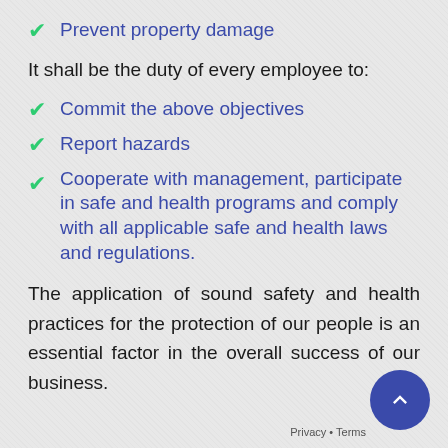Prevent property damage
It shall be the duty of every employee to:
Commit the above objectives
Report hazards
Cooperate with management, participate in safe and health programs and comply with all applicable safe and health laws and regulations.
The application of sound safety and health practices for the protection of our people is an essential factor in the overall success of our business.